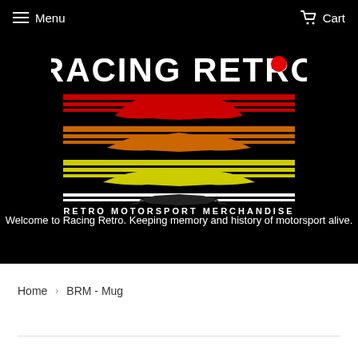Menu   Cart
[Figure (logo): Racing Retro logo with stylized F1 car silhouette in red, orange, and yellow horizontal stripes on black background. Text reads RACING RETRO with RETRO MOTORSPORT MERCHANDISE below.]
Welcome to Racing Retro. Keeping memory and history of motorsport alive.
Home  >  BRM - Mug